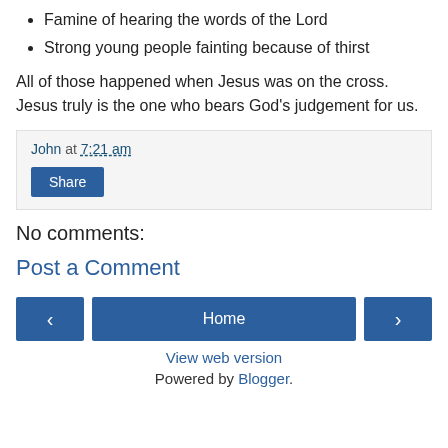Famine of hearing the words of the Lord
Strong young people fainting because of thirst
All of those happened when Jesus was on the cross. Jesus truly is the one who bears God's judgement for us.
John at 7:21 am
Share
No comments:
Post a Comment
< Home >
View web version
Powered by Blogger.